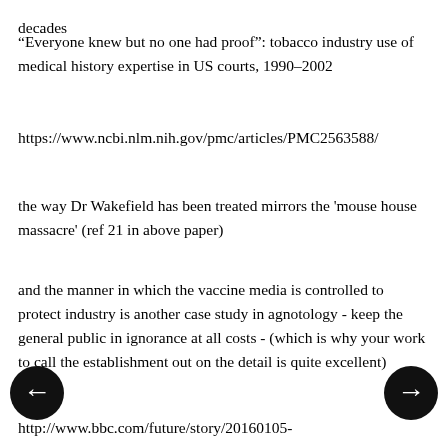decades
“Everyone knew but no one had proof”: tobacco industry use of medical history expertise in US courts, 1990–2002
https://www.ncbi.nlm.nih.gov/pmc/articles/PMC2563588/
the way Dr Wakefield has been treated mirrors the 'mouse house massacre' (ref 21 in above paper)
and the manner in which the vaccine media is controlled to protect industry is another case study in agnotology - keep the general public in ignorance at all costs - (which is why your work to call the establishment out on the detail is quite excellent)
http://www.bbc.com/future/story/20160105-